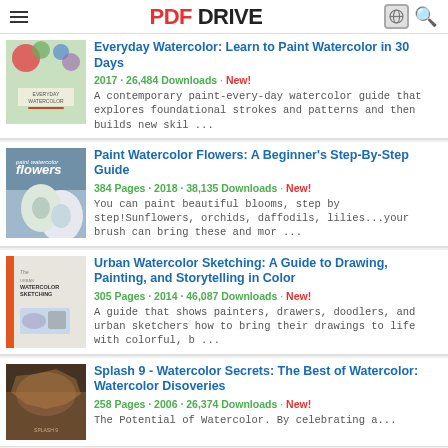PDF DRIVE
Everyday Watercolor: Learn to Paint Watercolor in 30 Days
2017 · 26,484 Downloads · New!
A contemporary paint-every-day watercolor guide that explores foundational strokes and patterns and then builds new skil ...
Paint Watercolor Flowers: A Beginner's Step-By-Step Guide
384 Pages · 2018 · 38,135 Downloads · New!
You can paint beautiful blooms, step by step!Sunflowers, orchids, daffodils, lilies...your brush can bring these and mor ...
Urban Watercolor Sketching: A Guide to Drawing, Painting, and Storytelling in Color
305 Pages · 2014 · 46,087 Downloads · New!
A guide that shows painters, drawers, doodlers, and urban sketchers how to bring their drawings to life with colorful, b ...
Splash 9 - Watercolor Secrets: The Best of Watercolor: Watercolor Disoveries
258 Pages · 2006 · 26,374 Downloads · New!
The Potential of Watercolor. By celebrating a...